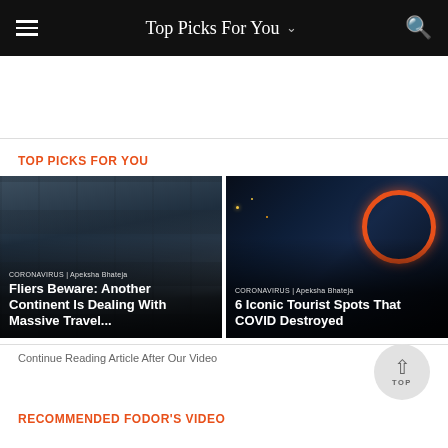Top Picks For You
TOP PICKS FOR YOU
[Figure (photo): Black and white photo of airplane window view with dramatic cloudy sky, overlaid with article card: CORONAVIRUS | Apeksha Bhateja — Fliers Beware: Another Continent Is Dealing With Massive Travel...]
[Figure (photo): Night photo of colorful illuminated tourist attraction with red circular structure, overlaid with article card: CORONAVIRUS | Apeksha Bhateja — 6 Iconic Tourist Spots That COVID Destroyed]
Continue Reading Article After Our Video
RECOMMENDED FODOR'S VIDEO